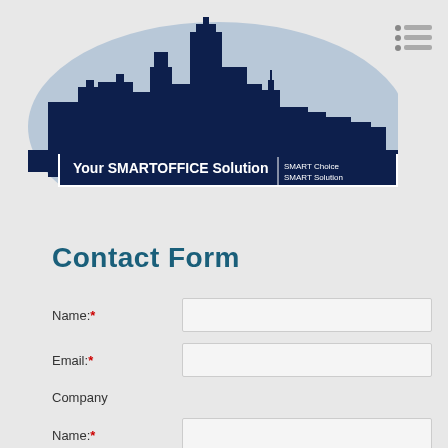[Figure (logo): SmartOffice Solutions logo with city skyline silhouette in dark navy blue against a light blue oval background. Text reads 'Your SMARTOFFICE Solution | SMART Choice SMART Solution']
[Figure (other): Hamburger menu icon with three horizontal lines]
Contact Form
Name:*
Email:*
Company Name:*
Address:*